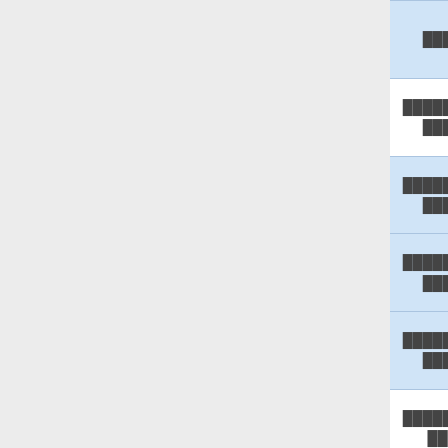| Name | Thai | How to obtain |  |
| --- | --- | --- | --- |
| (Destroyer) | ████ | Defeat Magus Maggahnas. | S |
| (Dulk Fakis Buster) | ████████ ████ | Defeat Dulk Fakis' first form five times. | S |
| (Dulk Fakis Slayer) | ████████ ████ | Defeat Dulk Fakis' first form ten times. |  |
| (Dulk Fakis Master) | ████████ ████ | Defeat Dulk Fakis' first form 25 times. |  |
| (Dulk Fakis Conqueror) | ████████ ████ | Defeat Dulk Fakis' first form 50 times. |  |
| (Dulk Fakis Killer) | ████████ ███ | Defeat Dulk Fakis' first form 100 times. | S |
| (Dulk Fakis Destroyer) | ████████ ███████ | Defeat Dulk Fakis' first form 250 times. |  |
| (Dulk Fakis Exorcist) | ████████ █████ | Defeat Dulk Fakis' first form | D |